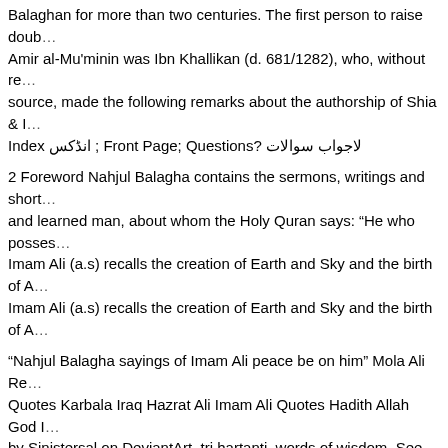Balaghan for more than two centuries. The first person to raise doub… Amir al-Mu'minin was Ibn Khallikan (d. 681/1282), who, without re… source, made the following remarks about the authorship of Shia & I… Index انڈکس ; Front Page; Questions? لاجواب سوالات
2 Foreword Nahjul Balagha contains the sermons, writings and shor… and learned man, about whom the Holy Quran says: "He who posses… Imam Ali (a.s) recalls the creation of Earth and Sky and the birth of A… Imam Ali (a.s) recalls the creation of Earth and Sky and the birth of A…
"Nahjul Balagha sayings of Imam Ali peace be on him" Mola Ali Re… Quotes Karbala Iraq Hazrat Ali Imam Ali Quotes Hadith Allah God I… by Sinistersal on DeviantArt. tri hartanti. words of wisdom. See mor… "When you succeed - Imam Ali saying by Sinistersal on DeviantArt"… Ali Quotes Imam Ali Quotes Ibn … I disagree, every Shia scholar/M… questioned were adamant that the Nahjul balagha is the second most… Quran, it's the Sunni Hadith that they pick and choose with and deny… at least that the case with Iranian Mullahs.
Nahjul Balagha Volume 1 Sermons - Islamic Mobility. Because the b…